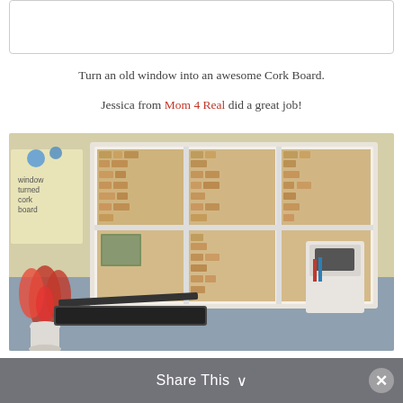Turn an old window into an awesome Cork Board.
Jessica from Mom 4 Real did a great job!
[Figure (photo): A desk with a window-turned-cork-board filled with wine corks on the wall behind. On the desk is a laptop, red flowers in a white vase, a small white storage organizer, and a family photo pinned to the board. A sticky note on the left reads 'window turned cork board'.]
Share This ∨